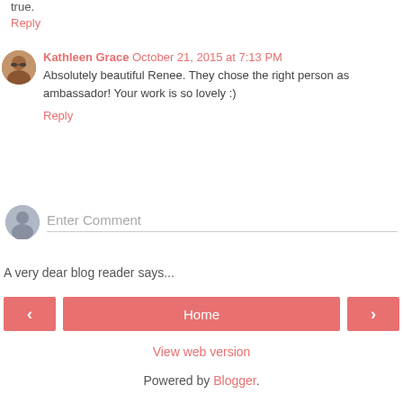true.
Reply
Kathleen Grace  October 21, 2015 at 7:13 PM
Absolutely beautiful Renee. They chose the right person as ambassador! Your work is so lovely :)
Reply
Enter Comment
A very dear blog reader says...
Home
View web version
Powered by Blogger.